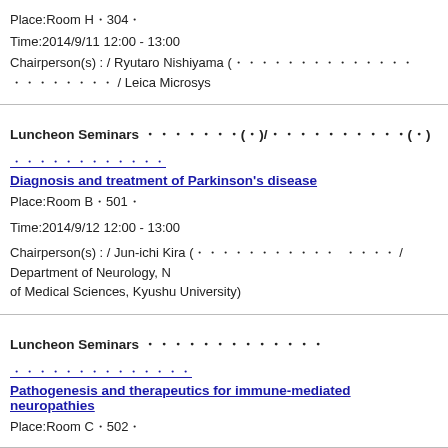Place:Room H・304・
Time:2014/9/11 12:00 - 13:00
Chairperson(s) : / Ryutaro Nishiyama (・・・・・・・・・・・・・・ ・・・・・・・・ / Leica Microsys
Luncheon Seminars ・・・・・・・(・)/・・・・・・・・・・(・)
・・・・・・・・・・・・
Diagnosis and treatment of Parkinson's disease
Place:Room B・501・
Time:2014/9/12 12:00 - 13:00
Chairperson(s) : / Jun-ichi Kira (・・・・・・・・・・・ ・・・・ / Department of Neurology, N of Medical Sciences, Kyushu University)
Luncheon Seminars ・・・・・・・・・・・・・
・・・・・・・・・・・・・・
Pathogenesis and therapeutics for immune-mediated neuropathies
Place:Room C・502・
Time:2014/9/12 12:00 - 13:00
Chairperson(s) : / Makoto Urushitani (・・・・・・・・・・・ ・・・・ / Department of Neurole of Medicine)